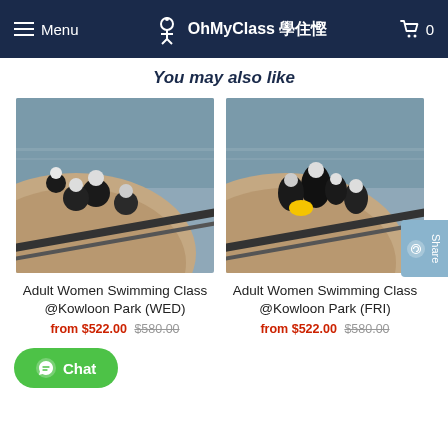Menu | OhMyClass 學住慳 | Cart 0
You may also like
[Figure (photo): People in swimming pool at Kowloon Park, wearing swim caps, at the pool edge]
Adult Women Swimming Class @Kowloon Park (WED)
from $522.00 $580.00
[Figure (photo): People in swimming pool at Kowloon Park, wearing swim caps and wetsuits, at the pool steps]
Adult Women Swimming Class @Kowloon Park (FRI)
from $522.00 $580.00
Chat